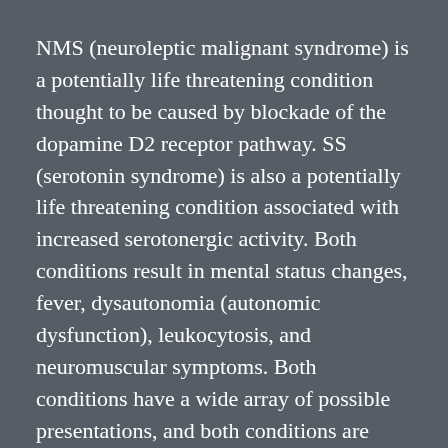NMS (neuroleptic malignant syndrome) is a potentially life threatening condition thought to be caused by blockade of the dopamine D2 receptor pathway. SS (serotonin syndrome) is also a potentially life threatening condition associated with increased serotonergic activity. Both conditions result in mental status changes, fever, dysautonomia (autonomic dysfunction), leukocytosis, and neuromuscular symptoms. Both conditions have a wide array of possible presentations, and both conditions are clinical diagnoses (lab tests do not confirm the diagnosis).
Generally speaking, SS has a more rapid onset